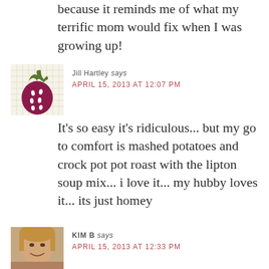because it reminds me of what my terrific mom would fix when I was growing up!
[Figure (illustration): Strawberry avatar icon on a grid background, dark pink/maroon strawberry graphic]
Jill Hartley says
APRIL 15, 2013 AT 12:07 PM
It's so easy it's ridiculous... but my go to comfort is mashed potatoes and crock pot pot roast with the lipton soup mix... i love it... my hubby loves it... its just homey
[Figure (photo): Photo of Kim B, a woman with blonde hair smiling]
KIM B says
APRIL 15, 2013 AT 12:33 PM